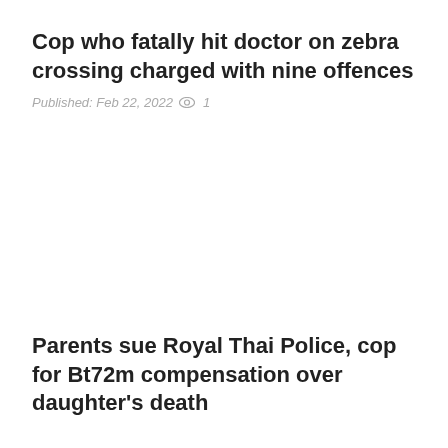Cop who fatally hit doctor on zebra crossing charged with nine offences
Published: Feb 22, 2022  👁 1
Parents sue Royal Thai Police, cop for Bt72m compensation over daughter's death